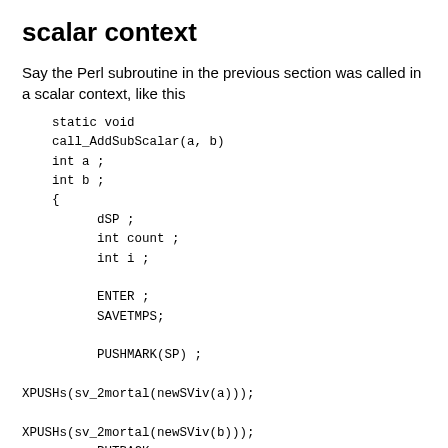scalar context
Say the Perl subroutine in the previous section was called in a scalar context, like this
static void
    call_AddSubScalar(a, b)
    int a ;
    int b ;
    {
          dSP ;
          int count ;
          int i ;

          ENTER ;
          SAVETMPS;

          PUSHMARK(SP) ;

XPUSHs(sv_2mortal(newSViv(a)));

XPUSHs(sv_2mortal(newSViv(b)));
          PUTBACK ;

          count =
perl_call_pv("AddSubtract",
G_SCALAR);